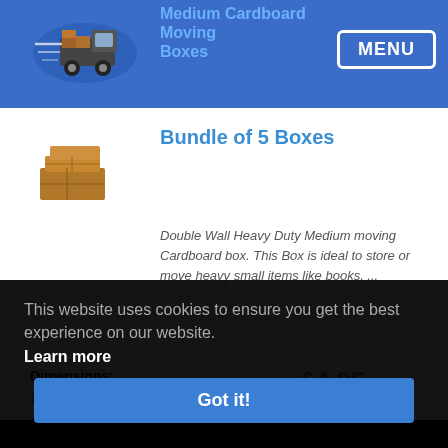Medium Cardboard Moving Boxes
Bundle of 5 Boxes
Double Wall Heavy Duty Medium moving Cardboard box. This Box is ideal to store or move heavy small items like books, ...
Dimensions:
18 x (L) x 18 (W) x 12 (H) inch
457 (L) x 457 (W) x 305 (H) mm
£4.95
price per box
This website uses cookies to ensure you get the best experience on our website.
Learn more
Got it!